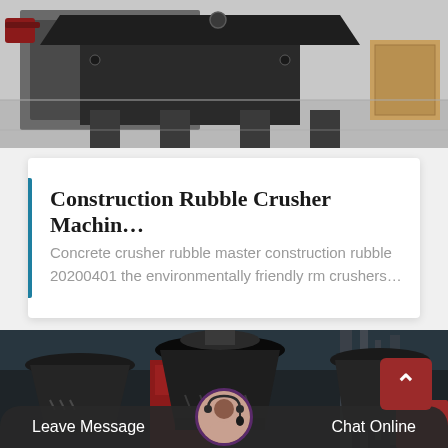[Figure (photo): Top view of industrial crusher machinery with metal frame and components in a workshop setting]
Construction Rubble Crusher Machin…
Concrete crusher rubble master construction rubble 20200401 the environmentally friendly rm crushers…
[Figure (photo): Large industrial cone crushers in a factory floor with red equipment visible in background]
Leave Message   Chat Online